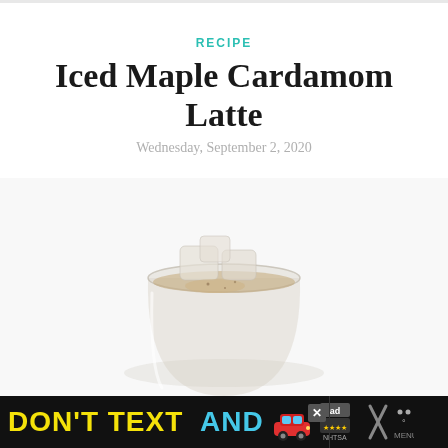RECIPE
Iced Maple Cardamom Latte
Wednesday, September 2, 2020
[Figure (photo): Iced latte in a clear glass with ice cubes, photographed against a white background. The drink appears to be a light tan/golden color — an iced maple cardamom latte.]
[Figure (infographic): Advertisement banner: Dark background with yellow text 'DON'T TEXT' and cyan text 'AND', a red car emoji, an 'ad' badge, an NHTSA logo with star ratings, a close/X button, and additional icons on the right side.]